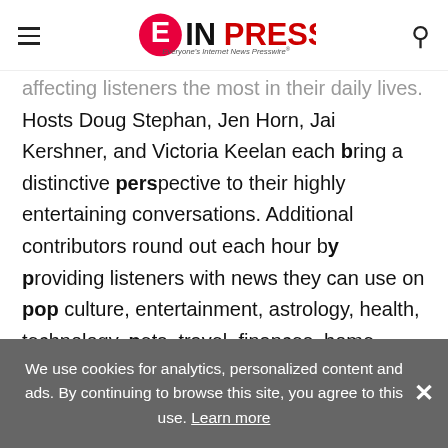EIN PRESSWIRE — Everyone's Internet News Presswire
...affecting listeners the most in their daily lives. Hosts Doug Stephan, Jen Horn, Jai Kershner, and Victoria Keelan each bring a distinctive perspective to their highly entertaining conversations. Additional contributors round out each hour by providing listeners with news they can use on pop culture, entertainment, astrology, health, technology, pets, travel, finances, home improvement, and much more. These benchmark segments also offer an opportunity for stations to generate local revenue with sponsorships...
We use cookies for analytics, personalized content and ads. By continuing to browse this site, you agree to this use. Learn more